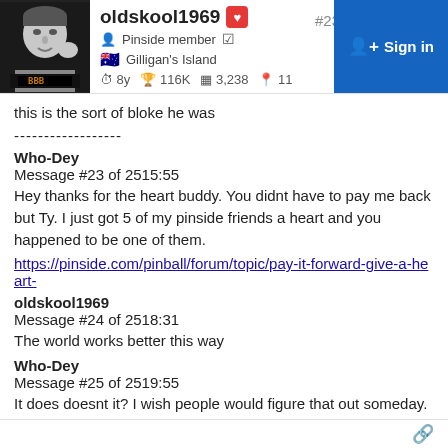oldskool1969 #23 Sign in | Pinside member | Gilligan's Island | 8y 116K 3,238 11
this is the sort of bloke he was
------------------
Who-Dey
Message #23 of 2515:55
Hey thanks for the heart buddy. You didnt have to pay me back but Ty. I just got 5 of my pinside friends a heart and you happened to be one of them.
https://pinside.com/pinball/forum/topic/pay-it-forward-give-a-heart-
oldskool1969
Message #24 of 2518:31
The world works better this way
Who-Dey
Message #25 of 2519:55
It does doesnt it? I wish people would figure that out someday.
🔗